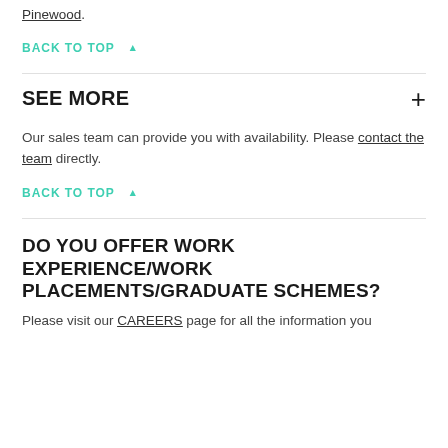Pinewood.
BACK TO TOP ▲
SEE MORE +
Our sales team can provide you with availability. Please contact the team directly.
BACK TO TOP ▲
DO YOU OFFER WORK EXPERIENCE/WORK PLACEMENTS/GRADUATE SCHEMES?
Please visit our CAREERS page for all the information you